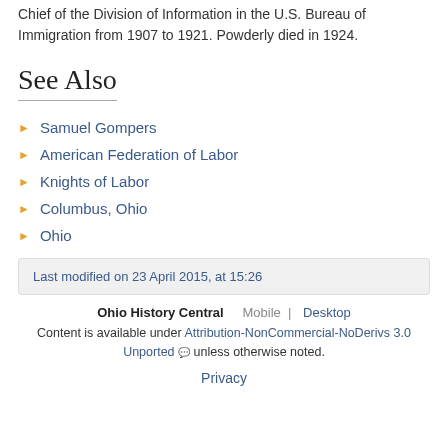Chief of the Division of Information in the U.S. Bureau of Immigration from 1907 to 1921. Powderly died in 1924.
See Also
Samuel Gompers
American Federation of Labor
Knights of Labor
Columbus, Ohio
Ohio
Last modified on 23 April 2015, at 15:26
Ohio History Central  Mobile | Desktop
Content is available under Attribution-NonCommercial-NoDerivs 3.0 Unported unless otherwise noted.
Privacy